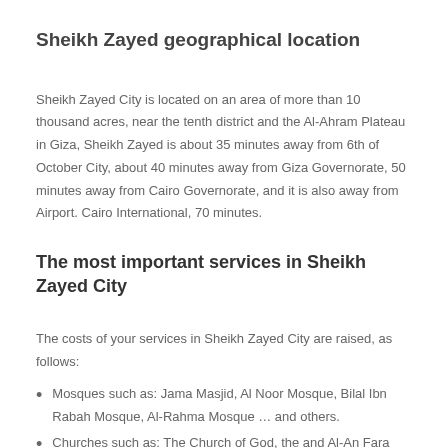Sheikh Zayed geographical location
Sheikh Zayed City is located on an area of more than 10 thousand acres, near the tenth district and the Al-Ahram Plateau in Giza, Sheikh Zayed is about 35 minutes away from 6th of October City, about 40 minutes away from Giza Governorate, 50 minutes away from Cairo Governorate, and it is also away from Airport. Cairo International, 70 minutes.
The most important services in Sheikh Zayed City
The costs of your services in Sheikh Zayed City are raised, as follows:
Mosques such as: Jama Masjid, Al Noor Mosque, Bilal Ibn Rabah Mosque, Al-Rahma Mosque … and others.
Churches such as: The Church of God, the and Al-An Fara such…